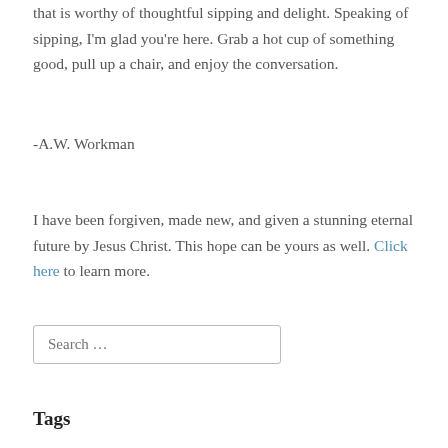that is worthy of thoughtful sipping and delight. Speaking of sipping, I'm glad you're here. Grab a hot cup of something good, pull up a chair, and enjoy the conversation.
-A.W. Workman
I have been forgiven, made new, and given a stunning eternal future by Jesus Christ. This hope can be yours as well. Click here to learn more.
Search …
Tags